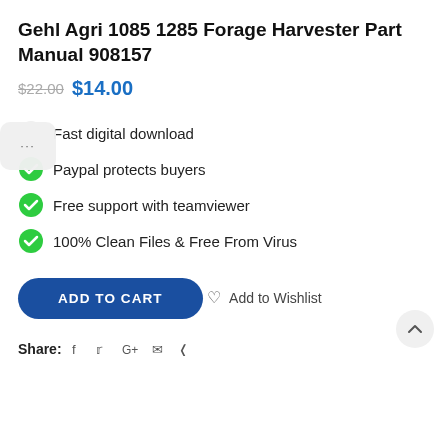Gehl Agri 1085 1285 Forage Harvester Part Manual 908157
$22.00 $14.00
Fast digital download
Paypal protects buyers
Free support with teamviewer
100% Clean Files & Free From Virus
ADD TO CART
Add to Wishlist
Share: